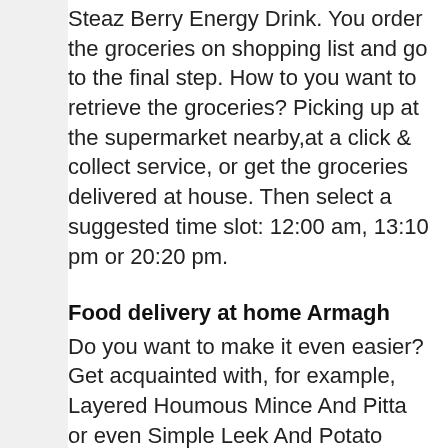Steaz Berry Energy Drink. You order the groceries on shopping list and go to the final step. How to you want to retrieve the groceries? Picking up at the supermarket nearby,at a click & collect service, or get the groceries delivered at house. Then select a suggested time slot: 12:00 am, 13:10 pm or 20:20 pm.
Food delivery at home Armagh
Do you want to make it even easier? Get acquainted with, for example, Layered Houmous Mince And Pitta or even Simple Leek And Potato Soup? Then take a look at the ready meals service by Primal Snackbox. You only want to use the microwave? For for meal delivery in Armagh. For more info, find the